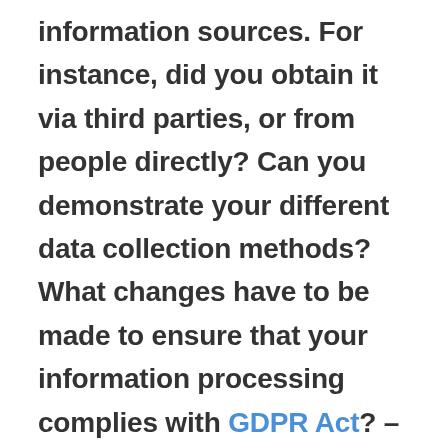information sources. For instance, did you obtain it via third parties, or from people directly? Can you demonstrate your different data collection methods? What changes have to be made to ensure that your information processing complies with GDPR Act? – List the things that need doing to make your data handling policies adhere to the new laws. For example, you might have to delete information that has surpassed your retention timeframe,